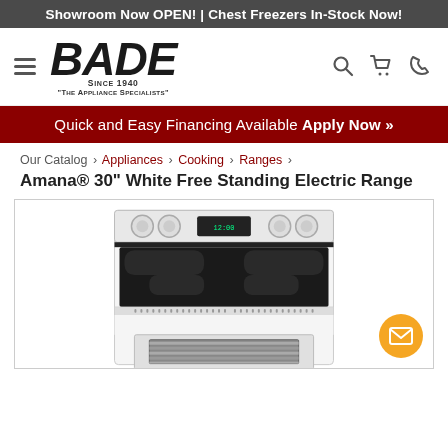Showroom Now OPEN! | Chest Freezers In-Stock Now!
[Figure (logo): Bade appliance store logo with hamburger menu icon, search, cart, and phone icons]
Quick and Easy Financing Available Apply Now »
Our Catalog › Appliances › Cooking › Ranges ›
Amana® 30" White Free Standing Electric Range
[Figure (photo): Amana 30 inch white free standing electric range with black glass cooktop and oven window]